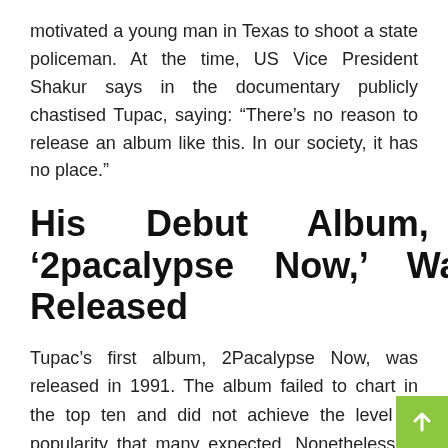motivated a young man in Texas to shoot a state policeman. At the time, US Vice President Shakur says in the documentary publicly chastised Tupac, saying: “There’s no reason to release an album like this. In our society, it has no place.”
His Debut Album, ‘2pacalypse Now,’ Was Released
Tupac’s first album, 2Pacalypse Now, was released in 1991. The album failed to chart in the top ten and did not achieve the level of popularity that many expected. Nonetheless, it was a watershed point in 2Pac’s career, inspiring the following generatio…